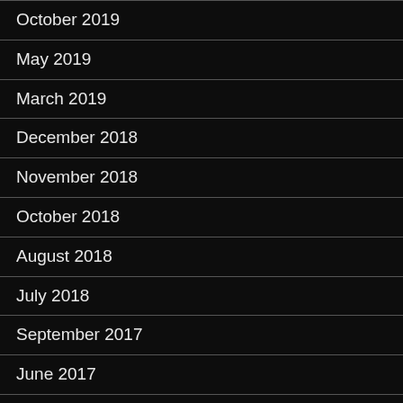October 2019
May 2019
March 2019
December 2018
November 2018
October 2018
August 2018
July 2018
September 2017
June 2017
April 2017
March 2017
February 2017